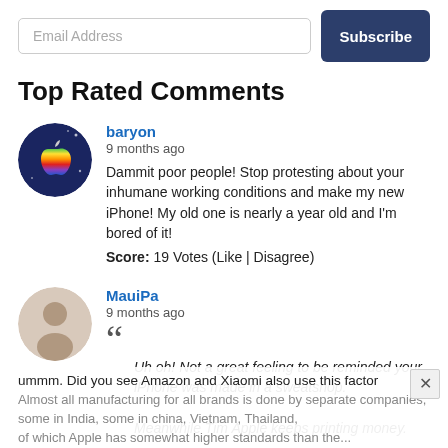Email Address / Subscribe
Top Rated Comments
baryon
9 months ago
Dammit poor people! Stop protesting about your inhumane working conditions and make my new iPhone! My old one is nearly a year old and I'm bored of it!
Score: 19 Votes (Like | Disagree)
MauiPa
9 months ago
““ Uh oh! Not a great feeling to be reminded your iPhone was made in a sweatshop.

Meanwhile Tim Apple keeps printing money.
ummm. Did you see Amazon and Xiaomi also use this factor... Almost all manufacturing for all brands is done by separate companies, some in India, some in china, Vietnam, Thailand, of which Apple has somewhat higher standards than the...